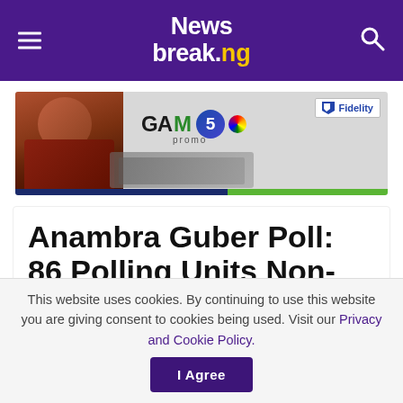Newsbreak.ng
[Figure (photo): Fidelity Bank GAM 5 PROMO advertisement banner featuring a man in traditional attire with money on a table]
Anambra Guber Poll: 86 Polling Units Non-functional, Won't Be Used
This website uses cookies. By continuing to use this website you are giving consent to cookies being used. Visit our Privacy and Cookie Policy. I Agree